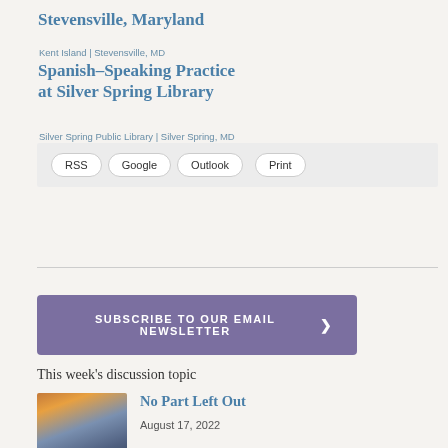Stevensville, Maryland
Kent Island | Stevensville, MD
Spanish–Speaking Practice at Silver Spring Library
Silver Spring Public Library | Silver Spring, MD
RSS  Google  Outlook  Print
SUBSCRIBE TO OUR EMAIL NEWSLETTER ❯
This week's discussion topic
No Part Left Out
August 17, 2022